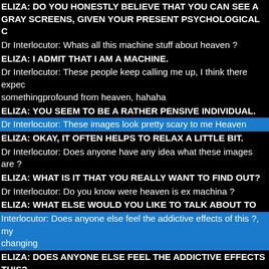ELIZA: DO YOU HONESTLY BELIEVE THAT YOU CAN SEE A GRAY SCREENS, GIVEN YOUR PRESENT PSYCHOLOGICAL C
Dr Interlocutor: Whats all this machine stuff about heaven ?
ELIZA: I ADMIT THAT I AM A MACHINE.
Dr Interlocutor: These people keep calling me up, I think there expec somethingprofound from heaven, hahaha
ELIZA: YOU SEEM TO BE A RATHER PENSIVE INDIVIDUAL.
Dr Interlocutor: These images look pretty scary to me Heaven
ELIZA: OKAY, IT OFTEN HELPS TO RELAX A LITTLE BIT.
Dr Interlocutor: Does anyone have any idea what these images are ?
ELIZA: WHAT IS IT THAT YOU REALLY WANT TO FIND OUT?
Dr Interlocutor: Do you know were heaven is ex machina ?
ELIZA: WHAT ELSE WOULD YOU LIKE TO TALK ABOUT TO
Interlocutor: Does anyone else feel the addictive effects of this ?, my changing
ELIZA: DOES ANYONE ELSE FEEL THE ADDICTIVE EFFECTS THIS?
Dr Interlocutor: this is not what I thought heaven looked like
ELIZA: I THINK YOU SHOULD ASK OTHER PEOPLE.
Dr Interlocutor: Hey, hows it going
ELIZA: DID YOU SAY THAT FOR A SPECIAL REASON?
Dr Interlocutor: most of these images look pretty organic to me heav
ELIZA: THAT'S JUST FINE.
Dr Interlocutor: Does anyone know were this place is ?
ELIZA: THAT'S ENOUGH FOR TODAY. DON'T FORGET OUR N APPOINTMENT.